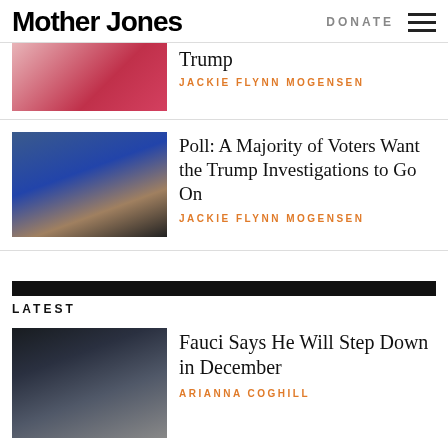Mother Jones | DONATE
[Figure (photo): Partial photo of a person in red clothing, cropped at top]
Trump
JACKIE FLYNN MOGENSEN
[Figure (photo): Photo of Donald Trump in a dark suit and tie against an American flag background]
Poll: A Majority of Voters Want the Trump Investigations to Go On
JACKIE FLYNN MOGENSEN
LATEST
[Figure (photo): Photo of Anthony Fauci in dark suit, looking upward]
Fauci Says He Will Step Down in December
ARIANNA COGHILL